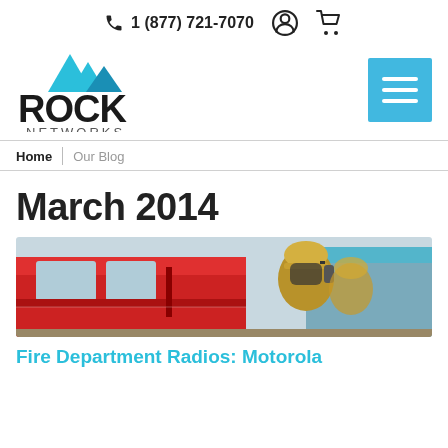1 (877) 721-7070
[Figure (logo): Rock Networks logo — teal mountain peaks above the word ROCK in bold black, with NETWORKS in smaller caps below]
[Figure (other): Blue hamburger/menu button with three white horizontal lines]
Home | Our Blog
March 2014
[Figure (photo): Firefighter in full gear standing in front of a red fire truck, holding a radio to face]
Fire Department Radios: Motorola